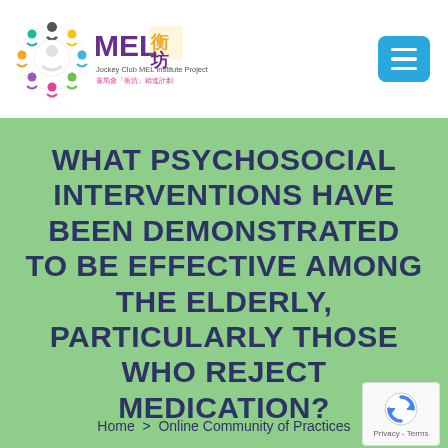[Figure (logo): MEL坊 (Jockey Club MEL Institute Project) logo with colorful circular icon and MEL坊 text]
WHAT PSYCHOSOCIAL INTERVENTIONS HAVE BEEN DEMONSTRATED TO BE EFFECTIVE AMONG THE ELDERLY, PARTICULARLY THOSE WHO REJECT MEDICATION?
Home  >  Online Community of Practices